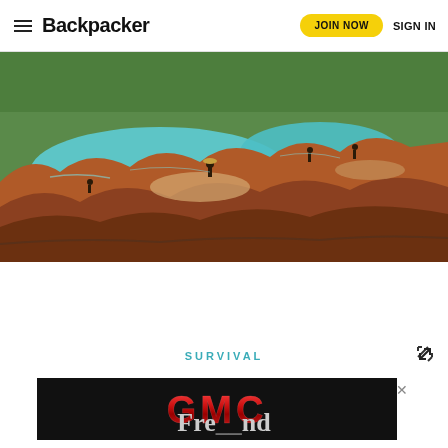Backpacker | JOIN NOW | SIGN IN
[Figure (photo): Aerial/landscape view of turquoise blue water pools surrounded by reddish-brown rock formations. People visible wading and standing near the water. Green vegetation in the background.]
SURVIVAL
[Figure (screenshot): GMC advertisement banner on black background with red metallic GMC logo text]
Fre... nd (partial article title visible)